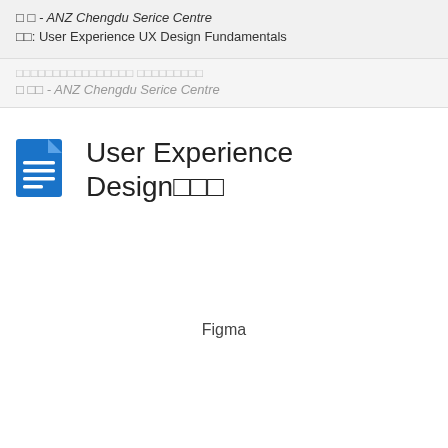□ □ - ANZ Chengdu Serice Centre
□□: User Experience UX Design Fundamentals
□□□□□□□□□□□□□□□□ □□□□□□□□□
□ □□ - ANZ Chengdu Serice Centre
User Experience Design□□□
Figma